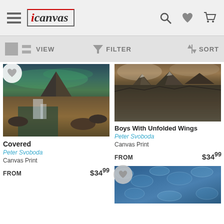iCanvas - header with navigation icons (search, wishlist, cart)
VIEW  FILTER  SORT - toolbar
[Figure (photo): Landscape photo: mountain with waterfall and northern lights - product image for 'Covered']
Covered
Peter Svoboda
Canvas Print
FROM   $34.99
[Figure (photo): Dark dramatic mountain landscape with clouds - product image for 'Boys With Unfolded Wings']
Boys With Unfolded Wings
Peter Svoboda
Canvas Print
FROM   $34.99
[Figure (photo): Blue textured surface - partially visible product image at bottom right]